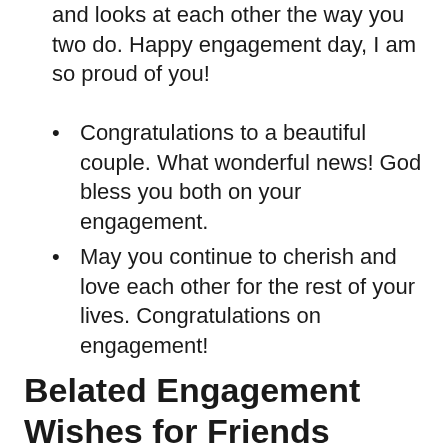and looks at each other the way you two do. Happy engagement day, I am so proud of you!
Congratulations to a beautiful couple. What wonderful news! God bless you both on your engagement.
May you continue to cherish and love each other for the rest of your lives. Congratulations on engagement!
Belated Engagement Wishes for Friends
Congratulations on your engagement! You make a wonderful couple. Wishing that this be just the start of a long and